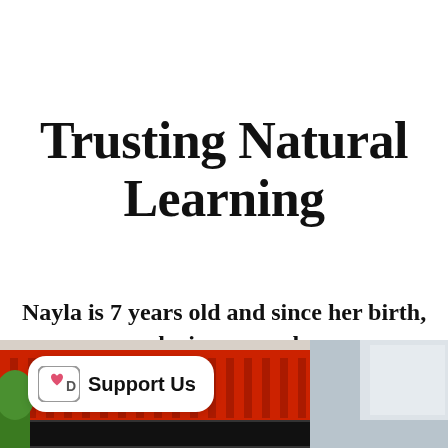Trusting Natural Learning
Nayla is 7 years old and since her birth, she is a nomad
[Figure (photo): Street scene photo showing a red building, fencing, and urban architecture in the lower portion of the page]
Support Us